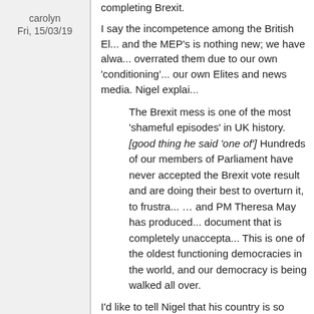carolyn
Fri, 15/03/19
completing Brexit.
I say the incompetence among the British El... and the MEP's is nothing new; we have alwa... overrated them due to our own 'conditioning'... our own Elites and news media. Nigel explai...
The Brexit mess is one of the most 'shameful episodes' in UK history. [good thing he said 'one of'] Hundreds of our members of Parliament have never accepted the Brexit vote result and are doing their best to overturn it, to frustra... … and PM Theresa May has produced... document that is completely unaccepta... This is one of the oldest functioning democracies in the world, and our democracy is being walked all over.
I'd like to tell Nigel that his country is so fille... shameful episodes that it has never had to fa... up to or answer for--and this is the reason it'... showing so little character now. It really does... know how. And neither do you, Nigel.